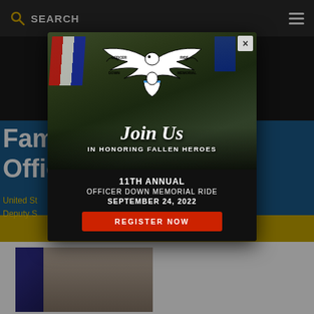SEARCH
Fami Officer
United St... ment | Deputy S...
[Figure (screenshot): Modal popup over a website page showing the Officer Down Memorial Ride event. Background shows motorcycles with American flags. Modal contains eagle logo, 'Join Us IN HONORING FALLEN HEROES', '11TH ANNUAL OFFICER DOWN MEMORIAL RIDE SEPTEMBER 24, 2022', and a red 'REGISTER NOW' button.]
[Figure (photo): Partial photo of a man in a suit with an American flag in the background.]